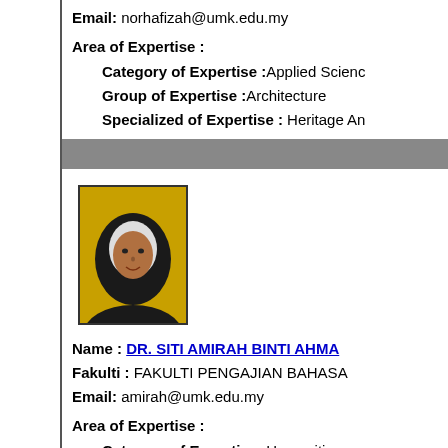Email: norhafizah@umk.edu.my
Area of Expertise :
Category of Expertise :Applied Science
Group of Expertise :Architecture
Specialized of Expertise : Heritage An…
[Figure (photo): Portrait photo of Dr. Siti Amirah Binti Ahmad, woman wearing black hijab with white inner, yellow background]
Name : DR. SITI AMIRAH BINTI AHMA…
Fakulti : FAKULTI PENGAJIAN BAHASA…
Email: amirah@umk.edu.my
Area of Expertise :
Category of Expertise :Humanities